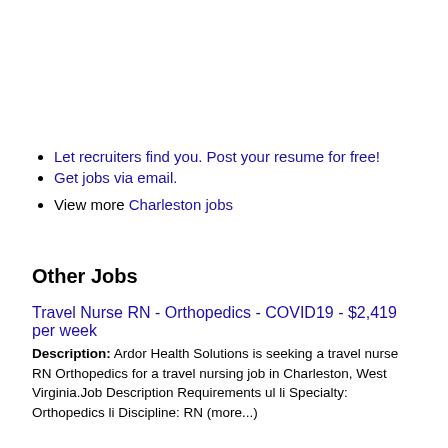Let recruiters find you. Post your resume for free!
Get jobs via email.
View more Charleston jobs
Other Jobs
Travel Nurse RN - Orthopedics - COVID19 - $2,419 per week
Description: Ardor Health Solutions is seeking a travel nurse RN Orthopedics for a travel nursing job in Charleston, West Virginia.Job Description Requirements ul li Specialty: Orthopedics li Discipline: RN (more...)